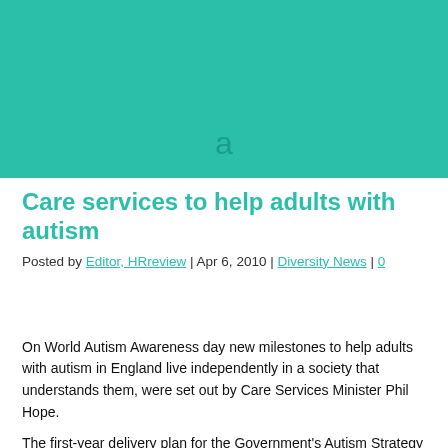[Figure (illustration): Teal/turquoise colored banner image with a small italic letter 'a' visible near the bottom center]
Care services to help adults with autism
Posted by Editor, HRreview | Apr 6, 2010 | Diversity News | 0
On World Autism Awareness day new milestones to help adults with autism in England live independently in a society that understands them, were set out by Care Services Minister Phil Hope.
The first-year delivery plan for the Government's Autism Strategy